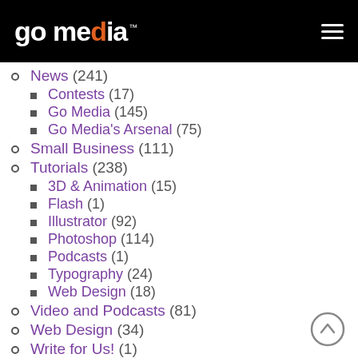go media™
News (241)
Contests (17)
Go Media (145)
Go Media's Arsenal (75)
Small Business (111)
Tutorials (238)
3D & Animation (15)
Flash (1)
Illustrator (92)
Photoshop (114)
Podcasts (1)
Typography (24)
Web Design (18)
Video and Podcasts (81)
Web Design (34)
Write for Us! (1)